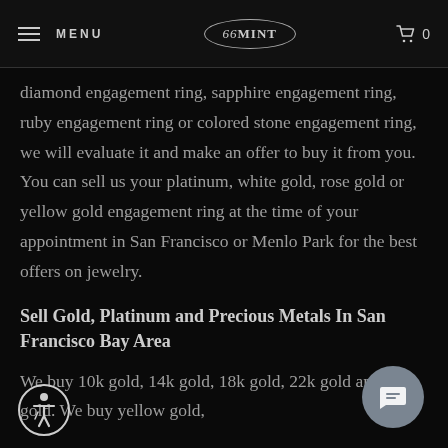MENU | 66MINT | 0
diamond engagement ring, sapphire engagement ring, ruby engagement ring or colored stone engagement ring, we will evaluate it and make an offer to buy it from you. You can sell us your platinum, white gold, rose gold or yellow gold engagement ring at the time of your appointment in San Francisco or Menlo Park for the best offers on jewelry.
Sell Gold, Platinum and Precious Metals In San Francisco Bay Area
We buy 10k gold, 14k gold, 18k gold, 22k gold and 24k gold. We buy yellow gold,